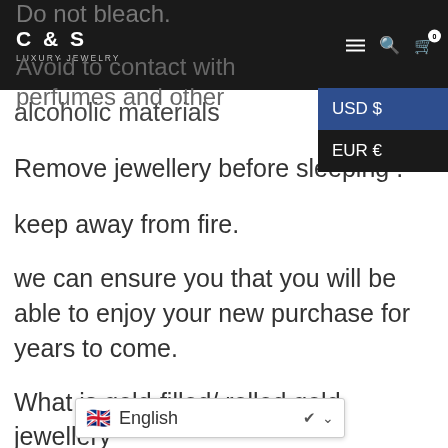C & S LUXURY JEWELRY
Do not bleach.
Avoid to contact with perfumes and other alcoholic materials
Remove jewellery before sleeping .
keep away from fire.
we can ensure you that you will be able to enjoy your new purchase for years to come.
What is gold-filled/ rolled gold jewellery
Gold-filled jewellery, also known as “rolled go… ems are created by